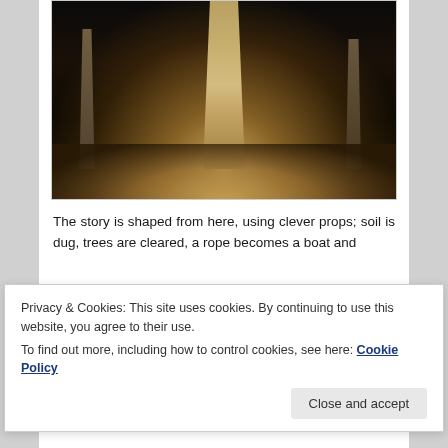[Figure (photo): A theatrical stage scene with tall illuminated tree-like columns in the background, two performers on a lit stage floor in the foreground, surrounded by darkness. The lighting creates a dramatic spotlight effect in earth tones.]
The story is shaped from here, using clever props; soil is dug, trees are cleared, a rope becomes a boat and
Privacy & Cookies: This site uses cookies. By continuing to use this website, you agree to their use.
To find out more, including how to control cookies, see here: Cookie Policy